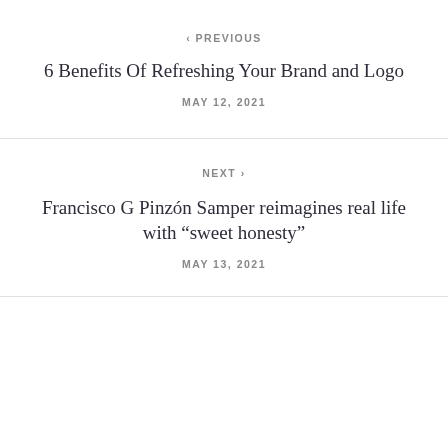< PREVIOUS
6 Benefits Of Refreshing Your Brand and Logo
MAY 12, 2021
NEXT >
Francisco G Pinzón Samper reimagines real life with “sweet honesty”
MAY 13, 2021